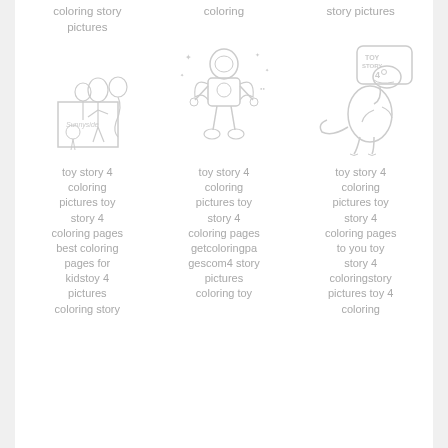coloring story pictures
coloring
story pictures
[Figure (illustration): Toy Story 4 coloring page showing characters around a box labeled 'Sunnyside']
[Figure (illustration): Toy Story 4 coloring page showing Buzz Lightyear standing with stars around him]
[Figure (illustration): Toy Story 4 coloring page showing Rex the dinosaur with Toy Story 4 logo]
toy story 4 coloring pictures toy story 4 coloring pages best coloring pages for kidstoy 4 pictures coloring story
toy story 4 coloring pictures toy story 4 coloring pages getcoloringpagescom4 story pictures coloring toy
toy story 4 coloring pictures toy story 4 coloring pages to you toy story 4 coloringstory pictures toy 4 coloring